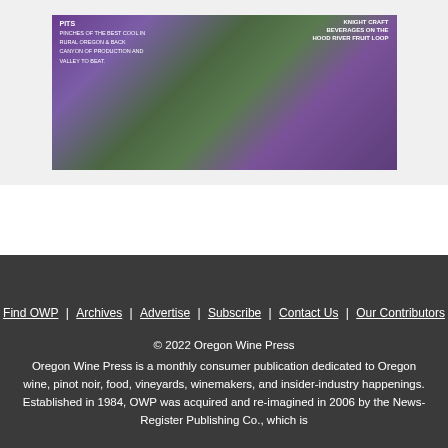[Figure (photo): Magazine cover or advertisement image showing a lavender/garden scene with purple flowers and green foliage. Text overlays visible on left and right sides of the image.]
Find OWP | Archives | Advertise | Subscribe | Contact Us | Our Contributors
© 2022 Oregon Wine Press
Oregon Wine Press is a monthly consumer publication dedicated to Oregon wine, pinot noir, food, vineyards, winemakers, and insider-industry happenings. Established in 1984, OWP was acquired and re-imagined in 2006 by the News-Register Publishing Co., which is